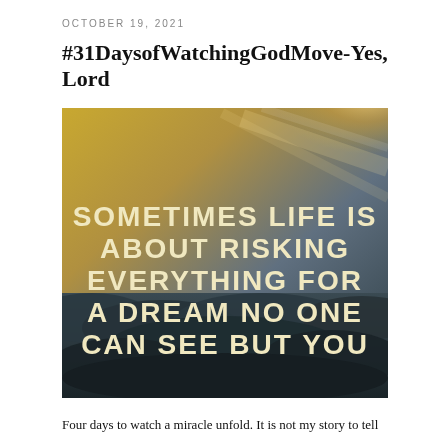OCTOBER 19, 2021
#31DaysofWatchingGodMove-Yes, Lord
[Figure (photo): Inspirational quote image showing a dramatic sky with clouds and sunlight, overlaid with the text: 'SOMETIMES LIFE IS ABOUT RISKING EVERYTHING FOR A DREAM NO ONE CAN SEE BUT YOU' in large bold white/cream lettering.]
Four days to watch a miracle unfold. It is not my story to tell